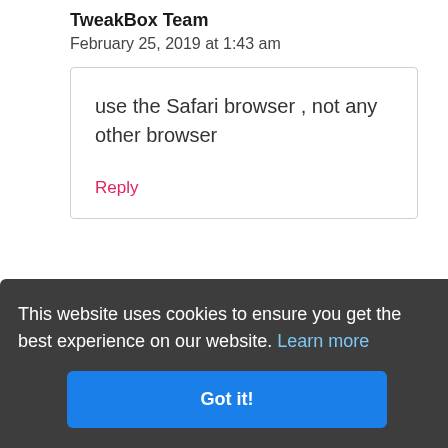TweakBox Team
February 25, 2019 at 1:43 am
use the Safari browser , not any other browser
Reply
This website uses cookies to ensure you get the best experience on our website. Learn more
Got it!
Hey I use an app called legend of the